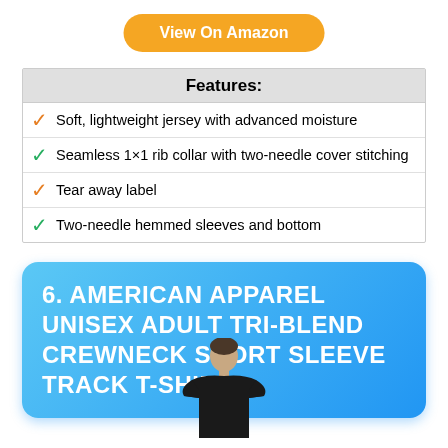View On Amazon
Features:
Soft, lightweight jersey with advanced moisture
Seamless 1×1 rib collar with two-needle cover stitching
Tear away label
Two-needle hemmed sleeves and bottom
6. AMERICAN APPAREL UNISEX ADULT TRI-BLEND CREWNECK SHORT SLEEVE TRACK T-SHIRT
[Figure (photo): Man wearing a black crewneck t-shirt, shown from waist up]